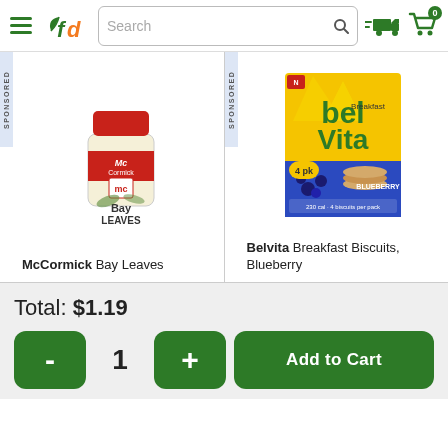[Figure (screenshot): Grocery delivery app header with hamburger menu, fd logo, search bar, delivery truck icon, and shopping cart with 0 badge]
[Figure (photo): McCormick Bay Leaves spice bottle with red lid and label]
SPONSORED
McCormick Bay Leaves
[Figure (photo): Belvita Breakfast Biscuits Blueberry box, yellow and blue packaging]
SPONSORED
Belvita Breakfast Biscuits, Blueberry
Total: $1.19
- 1 + Add to Cart